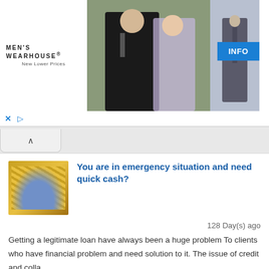[Figure (photo): Men's Wearhouse advertisement banner with logo, couple in formal wear, man in suit, and INFO button]
You are in emergency situation and need quick cash?
128 Day(s) ago
Getting a legitimate loan have always been a huge problem To clients who have financial problem and need solution to it. The issue of credit and colla..
Location: Asia, Qatar